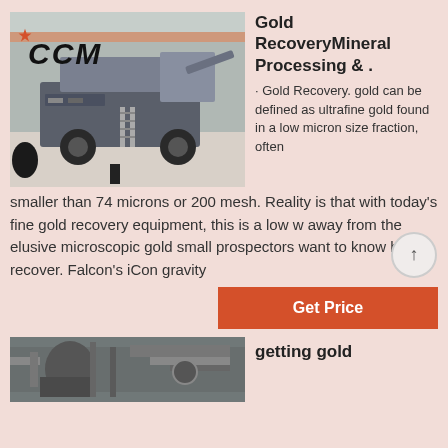[Figure (photo): Mobile mineral processing/crushing machine (CCM branded) in an industrial warehouse with orange overhead beams. CCM logo with red star visible on machine.]
Gold RecoveryMineral Processing & .
· Gold Recovery. gold can be defined as ultrafine gold found in a low micron size fraction, often smaller than 74 microns or 200 mesh. Reality is that with today's fine gold recovery equipment, this is a low w away from the elusive microscopic gold small prospectors want to know how to recover. Falcon's iCon gravity
Get Price
[Figure (photo): Industrial machinery close-up with pipes and metal components.]
getting gold